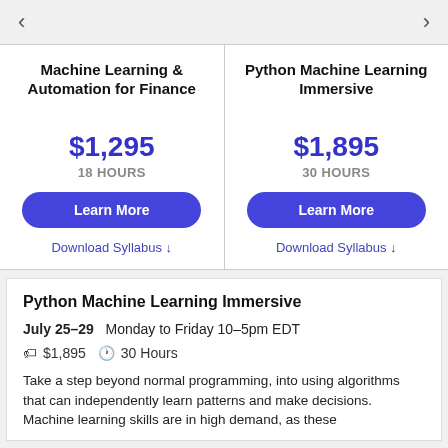Machine Learning & Automation for Finance
$1,295
18 HOURS
Python Machine Learning Immersive
$1,895
30 HOURS
Python Machine Learning Immersive
July 25–29   Monday to Friday 10–5pm EDT
🏷 $1,895  🕐 30 Hours
Take a step beyond normal programming, into using algorithms that can independently learn patterns and make decisions. Machine learning skills are in high demand, as these